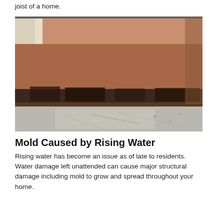joist of a home.
[Figure (photo): A photograph showing mold growth along the base of a wall where it meets a concrete floor, caused by rising water damage. Dark mold stains are visible along the wall-floor junction.]
Mold Caused by Rising Water
Rising water has become an issue as of late to residents.  Water damage left unattended can cause major structural damage including mold to grow and spread throughout your home.